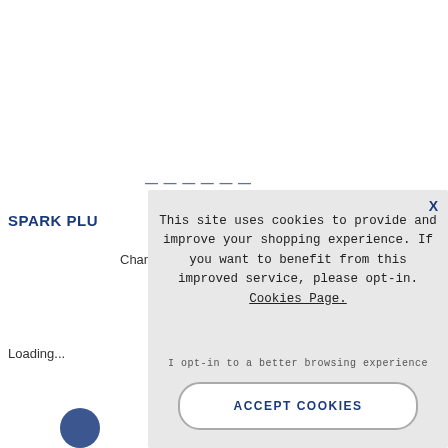SPARK PLU
Chan
Loading...
This site uses cookies to provide and improve your shopping experience. If you want to benefit from this improved service, please opt-in. Cookies Page.

I opt-in to a better browsing experience

ACCEPT COOKIES